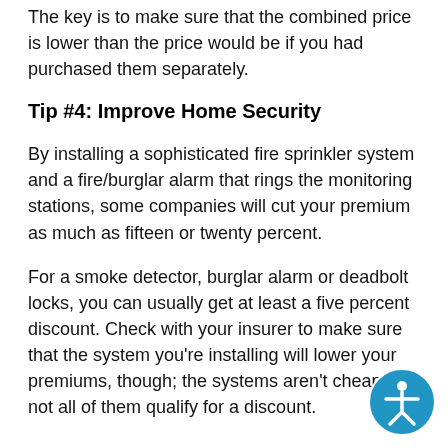The key is to make sure that the combined price is lower than the price would be if you had purchased them separately.
Tip #4: Improve Home Security
By installing a sophisticated fire sprinkler system and a fire/burglar alarm that rings the monitoring stations, some companies will cut your premium as much as fifteen or twenty percent.
For a smoke detector, burglar alarm or deadbolt locks, you can usually get at least a five percent discount. Check with your insurer to make sure that the system you're installing will lower your premiums, though; the systems aren't cheap and not all of them qualify for a discount.